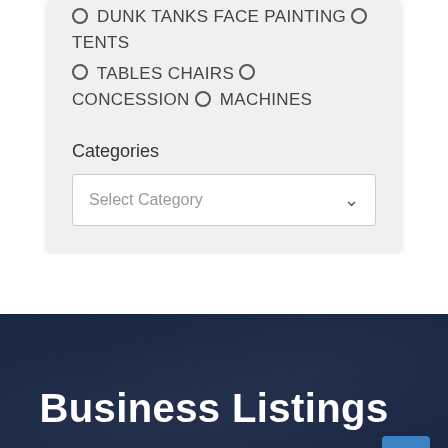○ DUNK TANKS FACE PAINTING ○ TENTS
○ TABLES CHAIRS ○ CONCESSION ○ MACHINES
Categories
Select Category
Business Listings